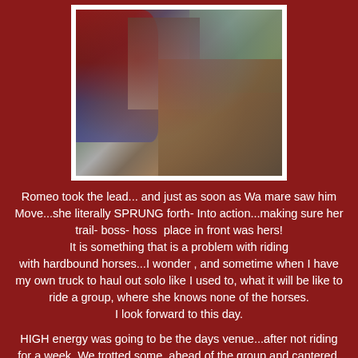[Figure (photo): A person in a red sweater and jeans riding a horse, viewed from above/side, with another person visible in background near a building window.]
Romeo took the lead... and just as soon as Wa mare saw him Move...she literally SPRUNG forth- Into action...making sure her trail- boss- hoss  place in front was hers! It is something that is a problem with riding with hardbound horses...I wonder , and sometime when I have my own truck to haul out solo like I used to, what it will be like to ride a group, where she knows none of the horses. I look forward to this day.
HIGH energy was going to be the days venue...after not riding for a week. We trotted some, ahead of the group and cantered. I heard my friend giggling behind me as we